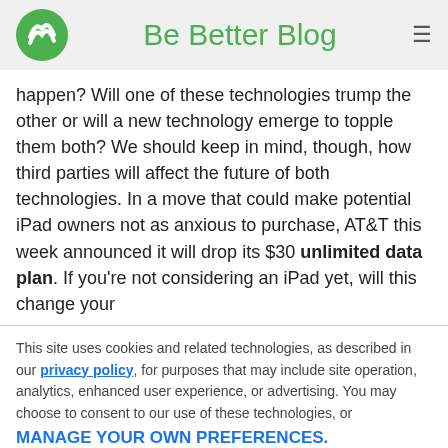Be Better Blog
happen? Will one of these technologies trump the other or will a new technology emerge to topple them both? We should keep in mind, though, how third parties will affect the future of both technologies. In a move that could make potential iPad owners not as anxious to purchase, AT&T this week announced it will drop its $30 unlimited data plan. If you're not considering an iPad yet, will this change your
This site uses cookies and related technologies, as described in our privacy policy, for purposes that may include site operation, analytics, enhanced user experience, or advertising. You may choose to consent to our use of these technologies, or MANAGE YOUR OWN PREFERENCES.